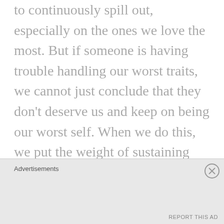to continuously spill out, especially on the ones we love the most. But if someone is having trouble handling our worst traits, we cannot just conclude that they don't deserve us and keep on being our worst self. When we do this, we put the weight of sustaining our relationships completely onto the other person. It takes all of the responsibility off of us and blames someone else even though we have just admitted that we are the ones causing problems by being at our worst. And that's
Advertisements